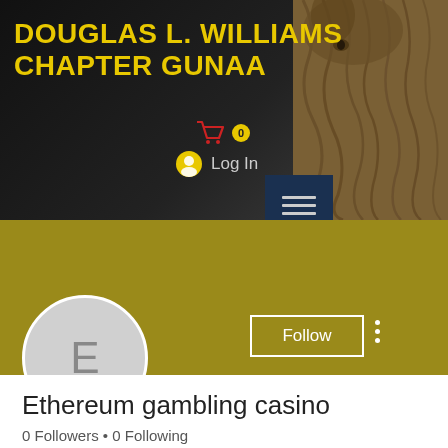[Figure (screenshot): Website header for Douglas L. Williams Chapter GUNAA with dark background, gold text title, cart icon, log in button, and hamburger menu. Right side shows animal fur photo.]
DOUGLAS L. WILLIAMS CHAPTER GUNAA
[Figure (screenshot): Member profile section with gold/olive banner, circular avatar with letter E, Follow button, three-dot menu, member name Ethereum gambling casino, 0 Followers and 0 Following stats, and a floating blue action button with three dots.]
Ethereum gambling casino
0 Followers • 0 Following